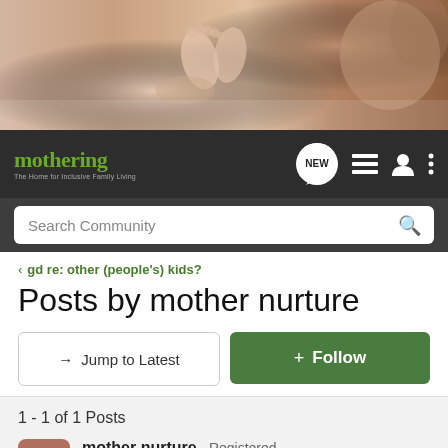[Figure (photo): Hero banner photo showing a pregnant belly and a parent holding a baby, close-up of baby feet]
mothering — The Home for Inclusive Family Living
Search Community
< gd re: other (people's) kids?
Posts by mother nurture
→ Jump to Latest
+ Follow
1 - 1 of 1 Posts
mother nurture · Registered
Joined Oct 12, 2004 · 1,104 Posts